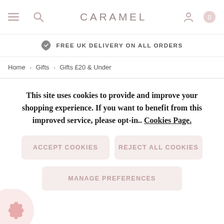CARAMEL
FREE UK DELIVERY ON ALL ORDERS
Home › Gifts › Gifts £20 & Under
This site uses cookies to provide and improve your shopping experience. If you want to benefit from this improved service, please opt-in.. Cookies Page.
ACCEPT COOKIES
REJECT ALL COOKIES
MANAGE PREFERENCES